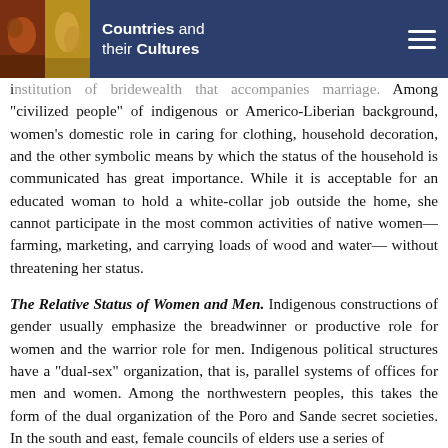Countries and their Cultures
institution of bridewealth that accompanies marriage. Among "civilized people" of indigenous or Americo-Liberian background, women's domestic role in caring for clothing, household decoration, and the other symbolic means by which the status of the household is communicated has great importance. While it is acceptable for an educated woman to hold a white-collar job outside the home, she cannot participate in the most common activities of native women—farming, marketing, and carrying loads of wood and water—without threatening her status.
The Relative Status of Women and Men. Indigenous constructions of gender usually emphasize the breadwinner or productive role for women and the warrior role for men. Indigenous political structures have a "dual-sex" organization, that is, parallel systems of offices for men and women. Among the northwestern peoples, this takes the form of the dual organization of the Poro and Sande secret societies. In the south and east, female councils of elders use a series of